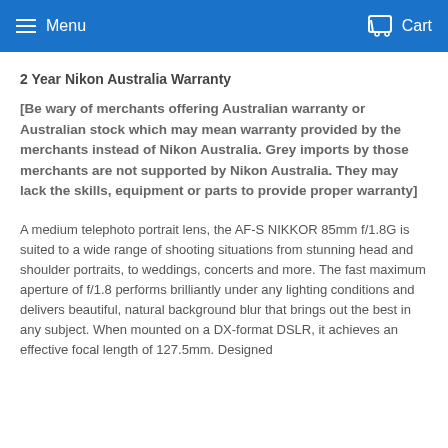Menu  Cart
2 Year Nikon Australia Warranty
[Be wary of merchants offering Australian warranty or Australian stock which may mean warranty provided by the merchants instead of Nikon Australia. Grey imports by those merchants are not supported by Nikon Australia. They may lack the skills, equipment or parts to provide proper warranty]
A medium telephoto portrait lens, the AF-S NIKKOR 85mm f/1.8G is suited to a wide range of shooting situations from stunning head and shoulder portraits, to weddings, concerts and more. The fast maximum aperture of f/1.8 performs brilliantly under any lighting conditions and delivers beautiful, natural background blur that brings out the best in any subject. When mounted on a DX-format DSLR, it achieves an effective focal length of 127.5mm. Designed